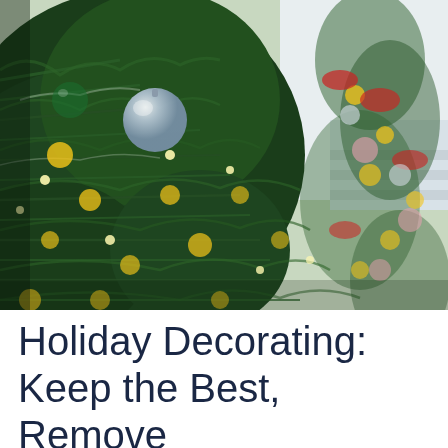[Figure (photo): Close-up photo of a decorated Christmas tree with green pine branches, silver and green ornament balls, warm yellow bokeh lights in the foreground, and a blurred second decorated Christmas tree in the background with red, pink, and silver ornaments against a bright white background.]
Holiday Decorating: Keep the Best, Remove